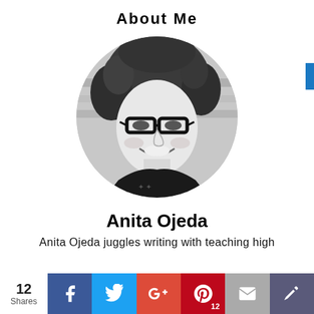About Me
[Figure (photo): Black and white circular profile photo of Anita Ojeda, a woman with curly hair and glasses, smiling.]
Anita Ojeda
Anita Ojeda juggles writing with teaching high
12 Shares | Facebook | Twitter | G+ | Pinterest 12 | Email | Sumo